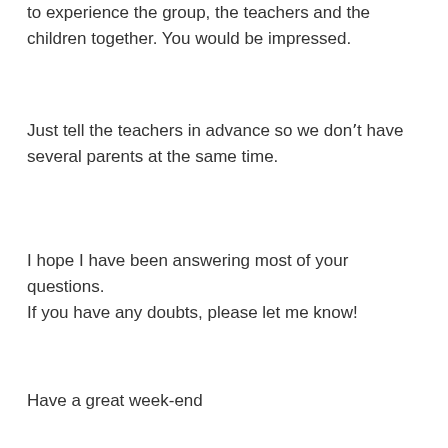to experience the group, the teachers and the children together. You would be impressed.
Just tell the teachers in advance so we donʼt have several parents at the same time.
I hope I have been answering most of your questions.
If you have any doubts, please let me know!
Have a great week-end